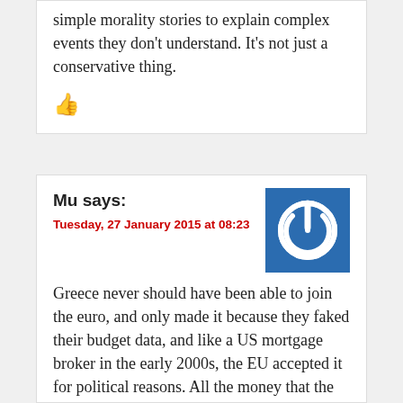simple morality stories to explain complex events they don't understand. It's not just a conservative thing.
👍
Mu says:
Tuesday, 27 January 2015 at 08:23
[Figure (illustration): Blue square avatar with white power button symbol]
Greece never should have been able to join the euro, and only made it because they faked their budget data, and like a US mortgage broker in the early 2000s, the EU accepted it for political reasons. All the money that the EU sent to Greece for the last 3 years was not to bail out the Greeks, it was to bail out the privately held banks and convert the debt to “EU” debt that is easier to sell to your local voters than a series of failed banks. As Greece was never in a position to pay back the money, the new government’s new course doesn’t make any difference.
👍